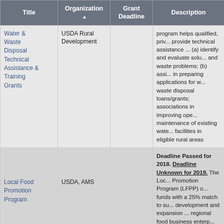| Title | Organization ▲ | Grant Deadline | Description |
| --- | --- | --- | --- |
| Water & Waste Disposal Technical Assistance & Training Grants | USDA Rural Development |  | program helps qualified, private... provide technical assistance ... (a) identify and evaluate solutions... and waste problems; (b) assist... in preparing applications for water & waste disposal loans/grants; ... associations in improving operation & maintenance of existing water ... facilities in eligible rural areas. |
| Local Food Promotion Program | USDA, AMS |  | Deadline Passed for 2018. Deadline Unknown for 2019. The Local Food Promotion Program (LFPP) offers funds with a 25% match to support development and expansion of local and regional food business enterprises that increase domestic consumption of, and access to, locally and regionally produced agricultural products, and to develop market opportunities for farm and ranch operations serving local markets. Has two types of project applications... |